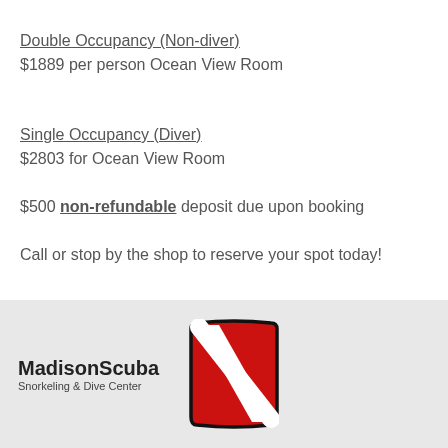Double Occupancy (Non-diver)
$1889 per person Ocean View Room
Single Occupancy (Diver)
$2803 for Ocean View Room
$500 non-refundable deposit due upon booking
Call or stop by the shop to reserve your spot today!
[Figure (logo): MadisonScuba Snorkeling & Dive Center logo with dive flag icon]